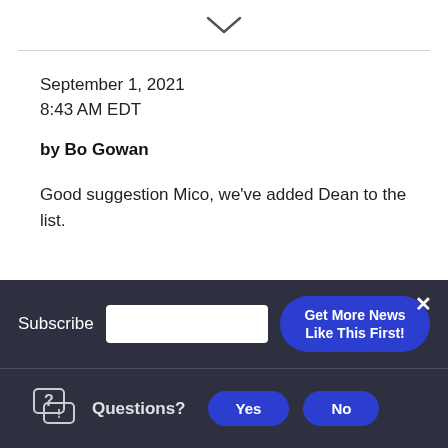[Figure (other): Downward chevron/arrow icon indicating collapse or scroll down]
September 1, 2021
8:43 AM EDT
by Bo Gowan
Good suggestion Mico, we've added Dean to the list.
Subscribe  [input field]  Get More News Like This First!  ×
Questions?  Yes  No